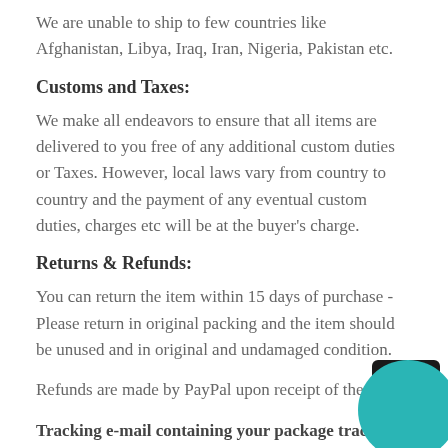We are unable to ship to few countries like Afghanistan, Libya, Iraq, Iran, Nigeria, Pakistan etc.
Customs and Taxes:
We make all endeavors to ensure that all items are delivered to you free of any additional custom duties or Taxes. However, local laws vary from country to country and the payment of any eventual custom duties, charges etc will be at the buyer's charge.
Returns & Refunds:
You can return the item within 15 days of purchase - Please return in original packing and the item should be unused and in original and undamaged condition.
Refunds are made by PayPal upon receipt of the ite…
Tracking e-mail containing your package tracking…